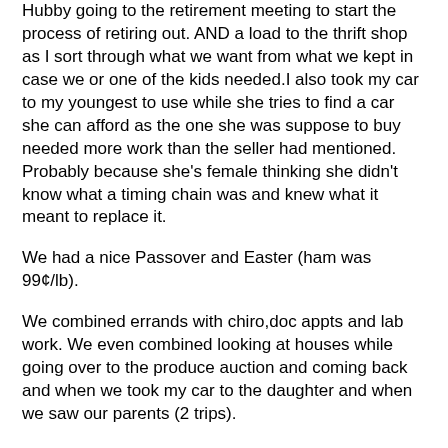Hubby going to the retirement meeting to start the process of retiring out. AND a load to the thrift shop as I sort through what we want from what we kept in case we or one of the kids needed.I also took my car to my youngest to use while she tries to find a car she can afford as the one she was suppose to buy needed more work than the seller had mentioned. Probably because she's female thinking she didn't know what a timing chain was and knew what it meant to replace it.
We had a nice Passover and Easter (ham was 99¢/lb).
We combined errands with chiro,doc appts and lab work. We even combined looking at houses while going over to the produce auction and coming back and when we took my car to the daughter and when we saw our parents (2 trips).
We used Wagner pts,Kroger pts and Speedway fuel card to keep the gas cost down while searching for lowest gas using Gasbuddy
I used my garage sale list for the yard sales I went to and